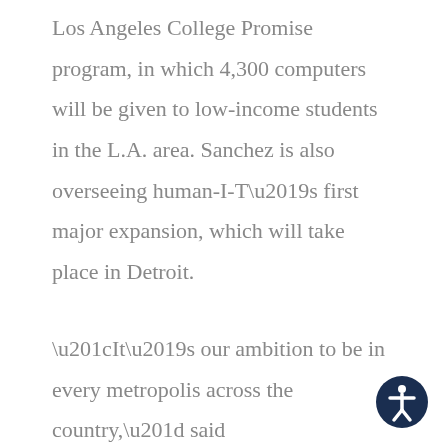Los Angeles College Promise program, in which 4,300 computers will be given to low-income students in the L.A. area. Sanchez is also overseeing human-I-T's first major expansion, which will take place in Detroit.

“It’s our ambition to be in every metropolis across the country,” said